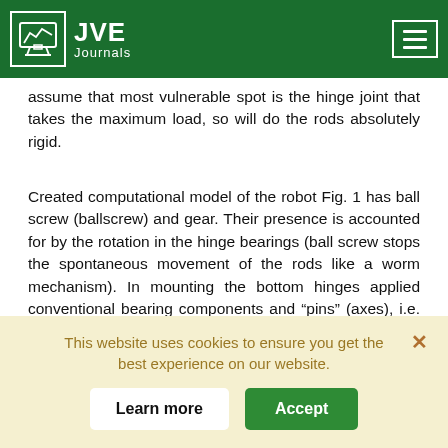JVE Journals
assume that most vulnerable spot is the hinge joint that takes the maximum load, so will do the rods absolutely rigid.
Created computational model of the robot Fig. 1 has ball screw (ballscrew) and gear. Their presence is accounted for by the rotation in the hinge bearings (ball screw stops the spontaneous movement of the rods like a worm mechanism). In mounting the bottom hinges applied conventional bearing components and “pins” (axes), i.e. the platform in these sites is mobile.
The analysis showed that when the loading platform is
This website uses cookies to ensure you get the best experience on our website.